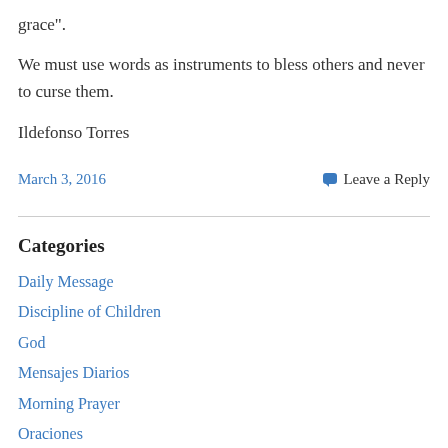grace”.
We must use words as instruments to bless others and never to curse them.
Ildefonso Torres
March 3, 2016
Leave a Reply
Categories
Daily Message
Discipline of Children
God
Mensajes Diarios
Morning Prayer
Oraciones